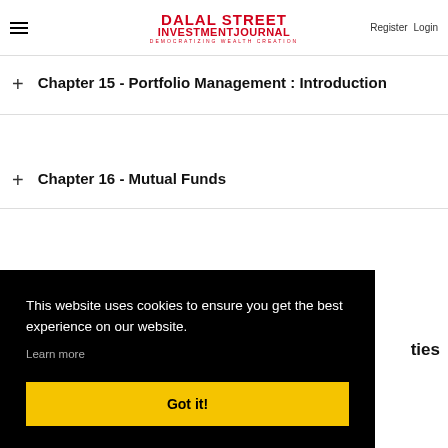Dalal Street Investment Journal — Register Login
Chapter 15 - Portfolio Management : Introduction
Chapter 16 - Mutual Funds
This website uses cookies to ensure you get the best experience on our website. Learn more
Got it!